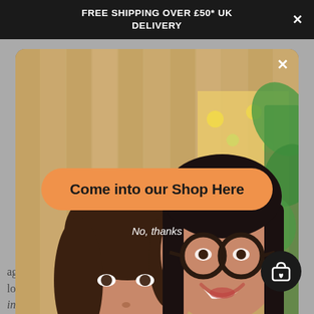FREE SHIPPING OVER £50* UK DELIVERY
[Figure (photo): Two women smiling and posing together in a shop with wooden walls, floral wallpaper, and green plants in the background. One woman wears pink, the other green.]
Come into our Shop Here
No, thanks
agree that, moisturising prevents dryness, makes skin look more youthful, hides signs of ageing, decreases inflammation in the skin and protects it from external